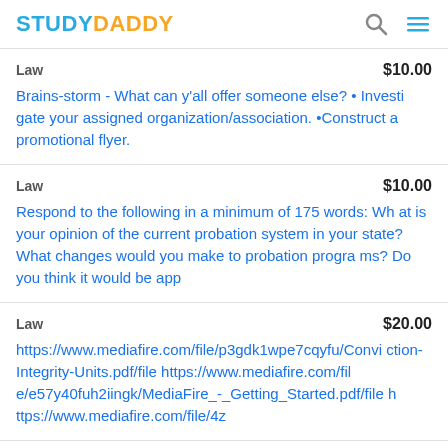STUDYDADDY
Law   $10.00
Brains-storm - What can y'all offer someone else? • Investigate your assigned organization/association. •Construct a promotional flyer.
Law   $10.00
Respond to the following in a minimum of 175 words: What is your opinion of the current probation system in your state? What changes would you make to probation programs? Do you think it would be app
Law   $20.00
https://www.mediafire.com/file/p3gdk1wpe7cqyfu/Conviction-Integrity-Units.pdf/file https://www.mediafire.com/file/e57y40fuh2iingk/MediaFire_-_Getting_Started.pdf/file https://www.mediafire.com/file/4z